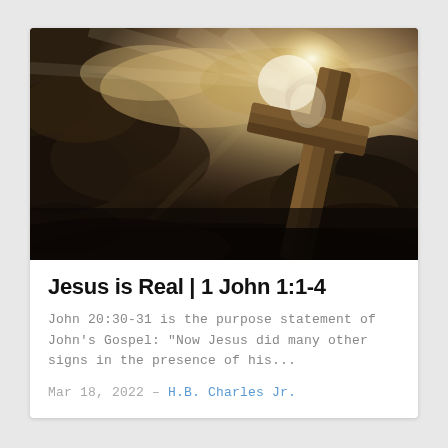[Figure (photo): A wooden cross silhouetted against a dramatic bright cloudy sky, with light rays emanating from behind the cross. The image has a warm sepia/golden tone with dark storm clouds surrounding the glowing light.]
Jesus is Real | 1 John 1:1-4
John 20:30-31 is the purpose statement of John's Gospel: "Now Jesus did many other signs in the presence of his...
Mar 18, 2022 – H.B. Charles Jr.